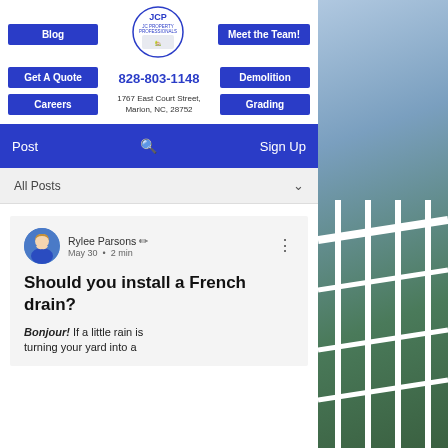[Figure (screenshot): Website screenshot of JCP (JC Property Professionals) blog page showing navigation buttons (Blog, Meet the Team!, Get A Quote, Demolition, Careers, Grading), company logo, phone number 828-803-1148, address 1767 East Court Street Marion NC 28752, blue navigation bar with Post, search, Sign Up, All Posts filter, and a blog post by Rylee Parsons titled 'Should you install a French drain?' with excerpt starting 'Bonjour! If a little rain is turning your yard into a']